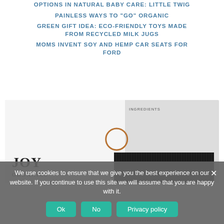OPTIONS IN NATURAL BABY CARE: LITTLE TWIG
PAINLESS WAYS TO "GO" ORGANIC
GREEN GIFT IDEA: ECO-FRIENDLY TOYS MADE FROM RECYCLED MILK JUGS
MOMS INVENT SOY AND HEMP CAR SEATS FOR FORD
[Figure (photo): Joy Organics product box with ingredients label visible, and a dark comb/brush object in the foreground]
We use cookies to ensure that we give you the best experience on our website. If you continue to use this site we will assume that you are happy with it.